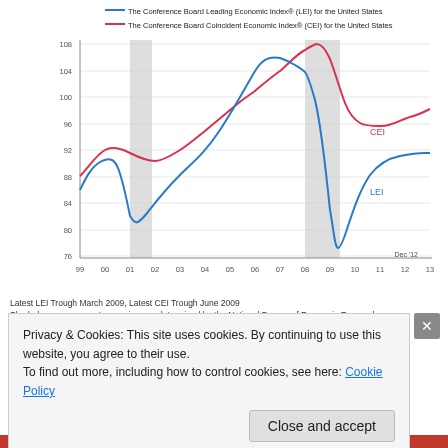[Figure (line-chart): Line chart showing The Conference Board Leading Economic Index (LEI) for the United States (blue line) and The Conference Board Coincident Economic Index (CEI) for the United States (red line), from approximately 1999 to 2013. Y-axis ranges from 76 to 108. Two shaded recession bands visible. LEI peaks around 107 in 2006, troughs near 78 in 2009. CEI peaks around 108 in 2007-2008, troughs near 97 in 2009. Both recover afterward. Dec '12 labeled at bottom right.]
Latest LEI Trough March 2009, Latest CEI Trough June 2009
Shaded areas represent recessions as determined by the National Bureau of Economic Research.
Source: The Conference Board
The Board of ...
Privacy & Cookies: This site uses cookies. By continuing to use this website, you agree to their use.
To find out more, including how to control cookies, see here: Cookie Policy